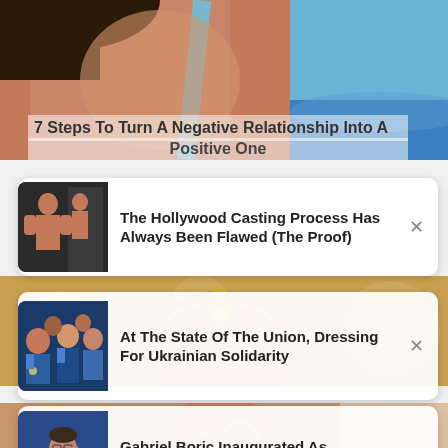[Figure (photo): Woman's back in blue swimsuit top near beach]
7 Steps To Turn A Negative Relationship Into A Positive One
[Figure (photo): Thumbnail of a bald muscular man flexing in a mirror]
The Hollywood Casting Process Has Always Been Flawed (The Proof)
[Figure (photo): Woman in traditional Indian jewelry and ornate necklace]
[Figure (photo): Crowd at State of the Union, people wearing blue]
At The State Of The Union, Dressing For Ukrainian Solidarity
[Figure (photo): Close-up of woman's face with nose ring and hoop earring]
[Figure (photo): Gabriel Boric raising hand in crowd]
Gabriel Boric Inaugurated As Youngest President Of Chile
People Do Is...Most Jaw-dropping...